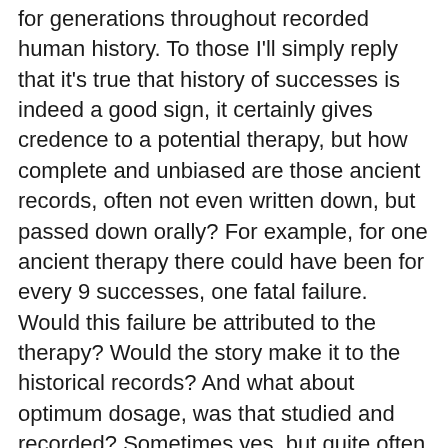for generations throughout recorded human history. To those I'll simply reply that it's true that history of successes is indeed a good sign, it certainly gives credence to a potential therapy, but how complete and unbiased are those ancient records, often not even written down, but passed down orally? For example, for one ancient therapy there could have been for every 9 successes, one fatal failure. Would this failure be attributed to the therapy? Would the story make it to the historical records? And what about optimum dosage, was that studied and recorded? Sometimes yes, but quite often not. In fact, for plant-based products, even if the traditional therapy called for the administration of "one crushed leaf", for example, simply living in a different region might have provided a different effective dosage of the active ingredient, by the very nature of the different microclimates affecting the growth and development of that plant. Wouldn't it be useful to know what the optimum, let alone safe, dosage should be? And isn't it our duty to ensure, by modern standards of measurement and recording, that the success rate of the therapy is acceptable? Just knowing if there was a 1 in 10 failure rate for a particular therapy would be useful. Even if this is worse than the existing gold standard Western treatment